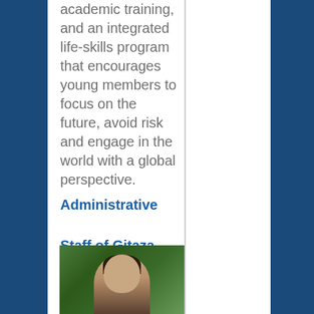academic training, and an integrated life-skills program that encourages young members to focus on the future, avoid risk and engage in the world with a global perspective.
Administrative Staff of Gitaza Star AC:
[Figure (photo): Photo of a person outdoors with green trees/foliage in the background]